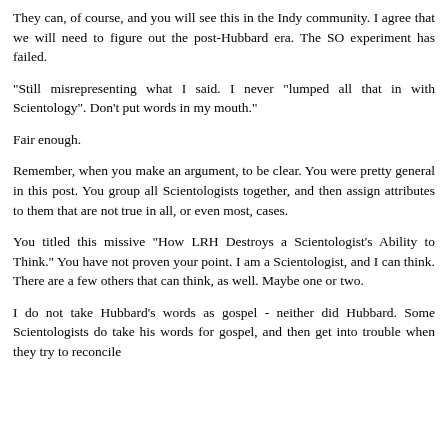They can, of course, and you will see this in the Indy community. I agree that we will need to figure out the post-Hubbard era. The SO experiment has failed.
"Still misrepresenting what I said. I never "lumped all that in with Scientology". Don't put words in my mouth."
Fair enough.
Remember, when you make an argument, to be clear. You were pretty general in this post. You group all Scientologists together, and then assign attributes to them that are not true in all, or even most, cases.
You titled this missive "How LRH Destroys a Scientologist's Ability to Think." You have not proven your point. I am a Scientologist, and I can think. There are a few others that can think, as well. Maybe one or two.
I do not take Hubbard's words as gospel - neither did Hubbard. Some Scientologists do take his words for gospel, and then get into trouble when they try to reconcile